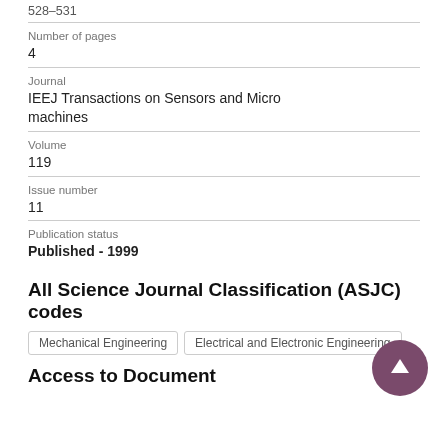528–531
Number of pages
4
Journal
IEEJ Transactions on Sensors and Micro machines
Volume
119
Issue number
11
Publication status
Published - 1999
All Science Journal Classification (ASJC) codes
Mechanical Engineering
Electrical and Electronic Engineering
Access to Document